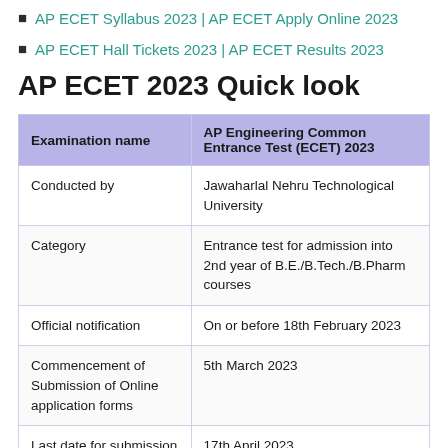AP ECET Syllabus 2023 | AP ECET Apply Online 2023
AP ECET Hall Tickets 2023 | AP ECET Results 2023
AP ECET 2023 Quick look
| Examination name | AP Engineering Common Entrance Test (ECET) 2023 |
| --- | --- |
| Conducted by | Jawaharlal Nehru Technological University |
| Category | Entrance test for admission into 2nd year of B.E./B.Tech./B.Pharm courses |
| Official notification | On or before 18th February 2023 |
| Commencement of Submission of Online application forms | 5th March 2023 |
| Last date for submission of Application form without late fee | 17th April 2023 |